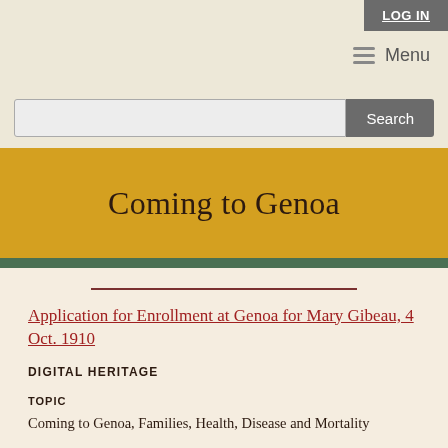LOG IN
Menu
Search
Coming to Genoa
Application for Enrollment at Genoa for Mary Gibeau, 4 Oct. 1910
DIGITAL HERITAGE
TOPIC
Coming to Genoa, Families, Health, Disease and Mortality